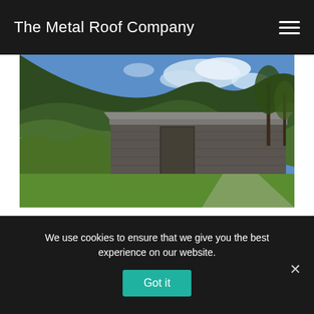The Metal Roof Company
[Figure (photo): Photograph of an old wooden barn or agricultural building with a corrugated metal roof, surrounded by green grass and overgrown ivy/vegetation on a hillside, under a partly cloudy blue sky.]
Class Q planning permission now
We use cookies to ensure that we give you the best experience on our website.
Got it